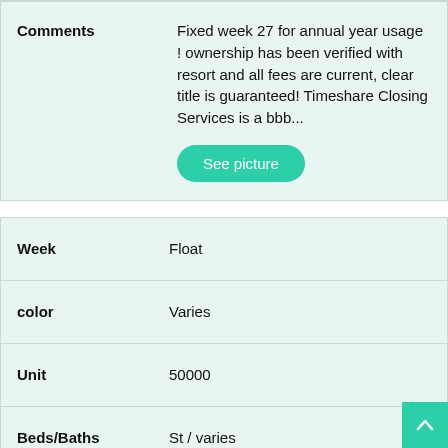| Field | Value |
| --- | --- |
| Comments | Fixed week 27 for annual year usage ! ownership has been verified with resort and all fees are current, clear title is guaranteed! Timeshare Closing Services is a bbb... |
| Week | Float |
| color | Varies |
| Unit | 50000 |
| Beds/Baths | St / varies |